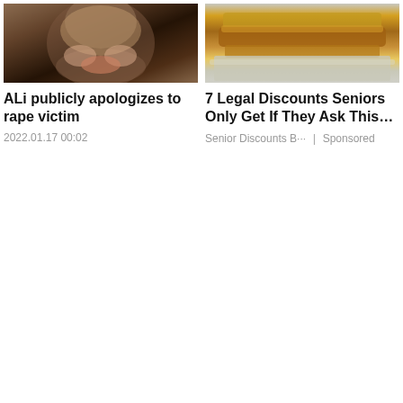[Figure (photo): Close-up photo of a young woman's face, partial view]
ALi publicly apologizes to rape victim
2022.01.17 00:02
[Figure (photo): Photo of a burger wrapped in foil]
7 Legal Discounts Seniors Only Get If They Ask This…
Senior Discounts B···  |  Sponsored